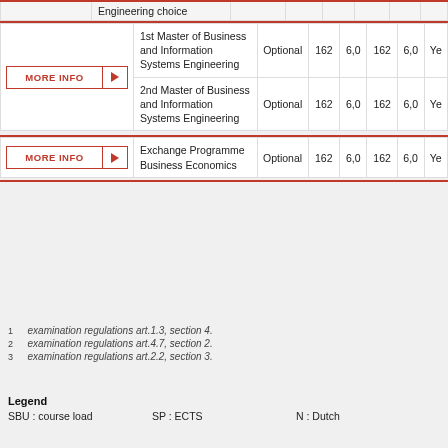|  | Course | Type | SBU | SP | SBU | SP | N |
| --- | --- | --- | --- | --- | --- | --- | --- |
| Engineering choice |  |  |  |  |  |  |  |
| MORE INFO | 1st Master of Business and Information Systems Engineering | Optional | 162 | 6,0 | 162 | 6,0 | Ye |
| MORE INFO | 2nd Master of Business and Information Systems Engineering | Optional | 162 | 6,0 | 162 | 6,0 | Ye |
| MORE INFO | Exchange Programme Business Economics | Optional | 162 | 6,0 | 162 | 6,0 | Ye |
1 examination regulations art.1.3, section 4.
2 examination regulations art.4.7, section 2.
3 examination regulations art.2.2, section 3.
Legend
SBU : course load   SP : ECTS   N : Dutch